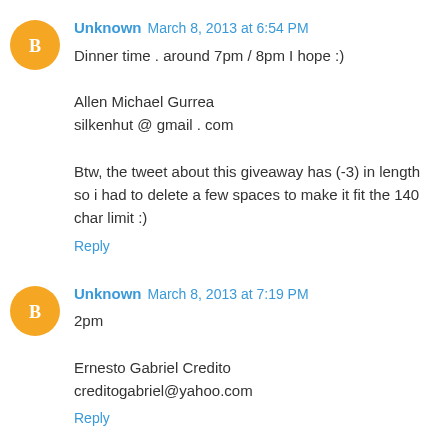Unknown March 8, 2013 at 6:54 PM
Dinner time . around 7pm / 8pm I hope :)

Allen Michael Gurrea
silkenhut @ gmail . com

Btw, the tweet about this giveaway has (-3) in length so i had to delete a few spaces to make it fit the 140 char limit :)

Reply
Unknown March 8, 2013 at 7:19 PM
2pm

Ernesto Gabriel Credito
creditogabriel@yahoo.com

Reply
Sabel March 8, 2013 at 7:20 PM